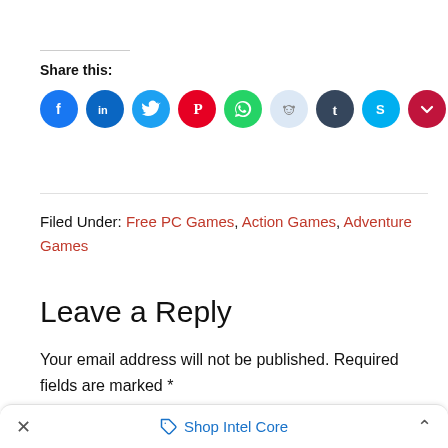Share this:
[Figure (infographic): Row of 10 social media share icon circles: Facebook (blue), LinkedIn (dark blue), Twitter (light blue), Pinterest (red), WhatsApp (green), Reddit (light gray/blue), Tumblr (dark blue-gray), Skype (light blue), Pocket (dark red), Telegram (blue)]
Filed Under: Free PC Games, Action Games, Adventure Games
Leave a Reply
Your email address will not be published. Required fields are marked *
× Shop Intel Core ^